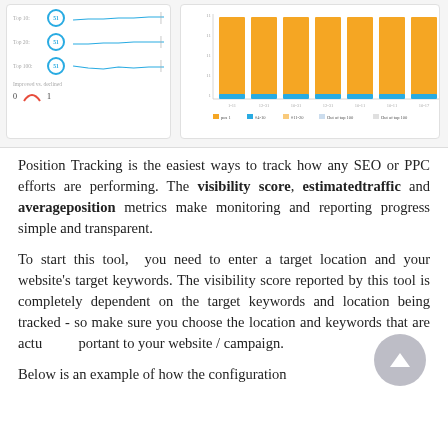[Figure (screenshot): A Position Tracking tool dashboard screenshot showing ranking metrics (Top 10, Top 20, Top 100 all showing 51) on the left panel, and a stacked bar chart on the right panel with yellow/blue bars over multiple date intervals and a legend below.]
Position Tracking is the easiest ways to track how any SEO or PPC efforts are performing. The visibility score, estimatedtraffic and averageposition metrics make monitoring and reporting progress simple and transparent.
To start this tool,  you need to enter a target location and your website's target keywords. The visibility score reported by this tool is completely dependent on the target keywords and location being tracked - so make sure you choose the location and keywords that are actually important to your website / campaign.
Below is an example of how the configuration